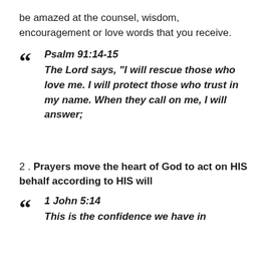be amazed at the counsel, wisdom, encouragement or love words that you receive.
Psalm 91:14-15
The Lord says, “I will rescue those who love me. I will protect those who trust in my name. When they call on me, I will answer;
2. Prayers move the heart of God to act on HIS behalf according to HIS will
1 John 5:14
This is the confidence we have in